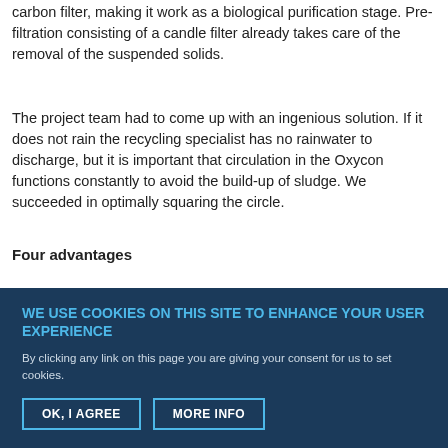carbon filter, making it work as a biological purification stage. Pre-filtration consisting of a candle filter already takes care of the removal of the suspended solids.
The project team had to come up with an ingenious solution. If it does not rain the recycling specialist has no rainwater to discharge, but it is important that circulation in the Oxycon functions constantly to avoid the build-up of sludge. We succeeded in optimally squaring the circle.
Four advantages
Since this combined system has been in use at the customer, four
WE USE COOKIES ON THIS SITE TO ENHANCE YOUR USER EXPERIENCE
By clicking any link on this page you are giving your consent for us to set cookies.
OK, I AGREE
MORE INFO